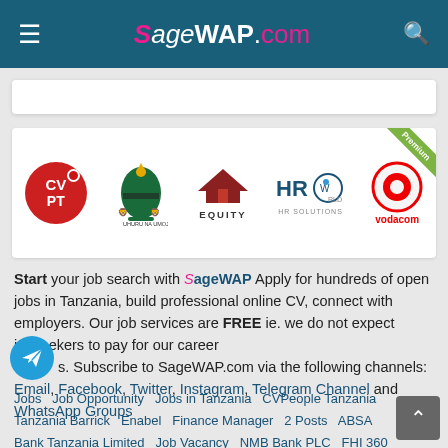SageWAP.com
[Figure (logo): Logos strip: CVPT (red circle), Tanzania coat of arms, Equity (house/bank logo), HRWorld, Vodacom (red circle). Premium badge in top-right corner.]
Start your job search with SageWAP Apply for hundreds of open jobs in Tanzania, build professional online CV, connect with employers. Our job services are FREE ie. we do not expect jobseekers to pay for our career services. Subscribe to SageWAP.com via the following channels: Email, Facebook, Twitter, Instagram, Telegram Channel and WhatsApp Groups
Jobs  Job Opportunity  Jobs in Tanzania  CVPeople Tanzania  Tanzania Barrick  Enabel  Finance Manager  2 Posts  ABSA Bank Tanzania Limited  Job Vacancy  NMB Bank PLC  FHI 360  Various Posts  Diageo  Geita Gold Mining Ltd  Intern  World Vision  Ajira Portal  KCB Bank Tanzania